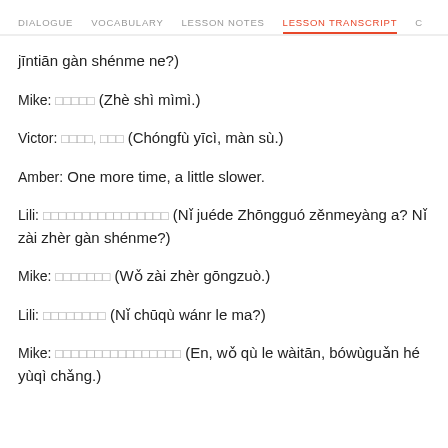DIALOGUE | VOCABULARY | LESSON NOTES | LESSON TRANSCRIPT | C
jīntiān gàn shénme ne?)
Mike: 这是秘密 (Zhè shì mìmì.)
Victor: 重复一次，慢速 (Chóngfù yīcì, màn sù.)
Amber: One more time, a little slower.
Lili: 你觉得中国怎么样啊？你在这儿干什么？ (Nǐ juéde Zhōngguó zěnmeyàng a? Nǐ zài zhèr gàn shénme?)
Mike: 我在这儿工作。 (Wǒ zài zhèr gōngzuò.)
Lili: 你出去玩儿了吗？ (Nǐ chūqù wánr le ma?)
Mike: 嗯，我去了外滩，博物馆和 (En, wǒ qù le wàitān, bówùguǎn hé yùqì chǎng.)